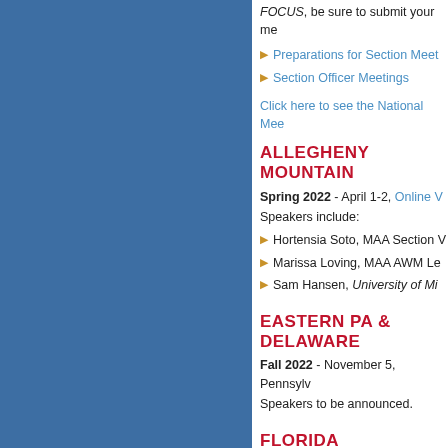FOCUS, be sure to submit your me
Preparations for Section Meet
Section Officer Meetings
Click here to see the National Mee
ALLEGHENY MOUNTAIN
Spring 2022 - April 1-2, Online V Speakers include:
Hortensia Soto, MAA Section V
Marissa Loving, MAA AWM Le
Sam Hansen, University of Mi
EASTERN PA & DELAWARE
Fall 2022 - November 5, Pennsylv Speakers to be announced.
FLORIDA
Spring 2023 - February 17-18, On Speakers to be announced.